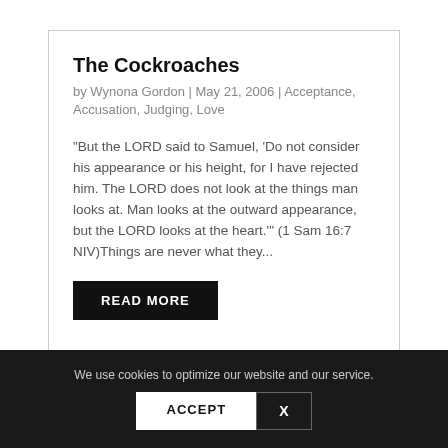The Cockroaches
by Wynona Gordon | May 21, 2006 | Acceptance, Accusation, Judging, Love
"But the LORD said to Samuel, 'Do not consider his appearance or his height, for I have rejected him. The LORD does not look at the things man looks at. Man looks at the outward appearance, but the LORD looks at the heart.'" (1 Sam 16:7 NIV)Things are never what they...
READ MORE
We use cookies to optimize our website and our service.
ACCEPT
X